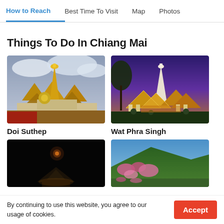How to Reach | Best Time To Visit | Map | Photos
Things To Do In Chiang Mai
[Figure (photo): Doi Suthep temple with golden pagoda under cloudy sky]
Doi Suthep
[Figure (photo): Wat Phra Singh temple illuminated at dusk with white chedi]
Wat Phra Singh
[Figure (photo): Dark nighttime scene with illuminated structure]
[Figure (photo): Green hillside with pink flowers and mountain backdrop]
By continuing to use this website, you agree to our usage of cookies.